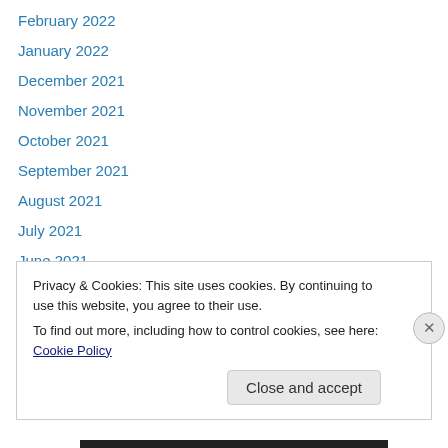February 2022
January 2022
December 2021
November 2021
October 2021
September 2021
August 2021
July 2021
June 2021
April 2021
March 2021
February 2021
January 2021
Privacy & Cookies: This site uses cookies. By continuing to use this website, you agree to their use.
To find out more, including how to control cookies, see here: Cookie Policy
Close and accept